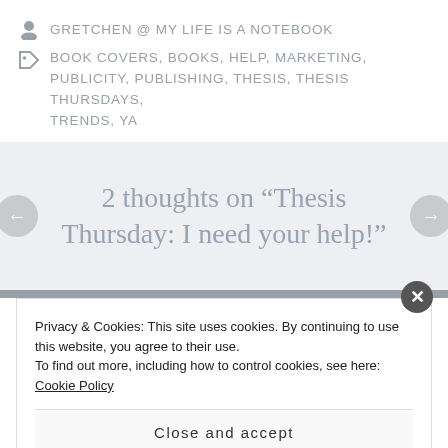GRETCHEN @ MY LIFE IS A NOTEBOOK
BOOK COVERS, BOOKS, HELP, MARKETING, PUBLICITY, PUBLISHING, THESIS, THESIS THURSDAYS, TRENDS, YA
2 thoughts on “Thesis Thursday: I need your help!”
Privacy & Cookies: This site uses cookies. By continuing to use this website, you agree to their use.
To find out more, including how to control cookies, see here: Cookie Policy
Close and accept